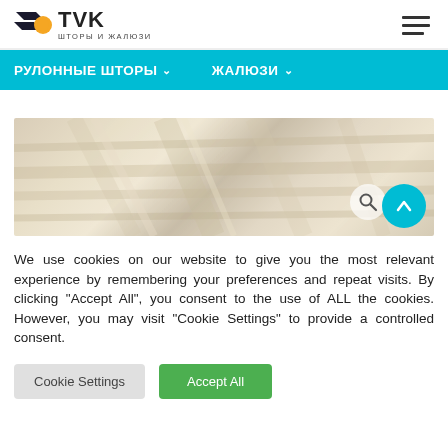[Figure (logo): TVK logo with stylized arrow/chevron icon and subtitle ШТОРЫ И ЖАЛЮЗИ]
[Figure (other): Hamburger menu icon (three horizontal lines)]
РУЛОННЫЕ ШТОРЫ   ЖАЛЮЗИ
[Figure (photo): Product texture image showing a light beige/cream wood-grain or fabric pattern, with a circular search icon and a cyan circular up-arrow button in the bottom right corner]
We use cookies on our website to give you the most relevant experience by remembering your preferences and repeat visits. By clicking "Accept All", you consent to the use of ALL the cookies. However, you may visit "Cookie Settings" to provide a controlled consent.
Cookie Settings
Accept All